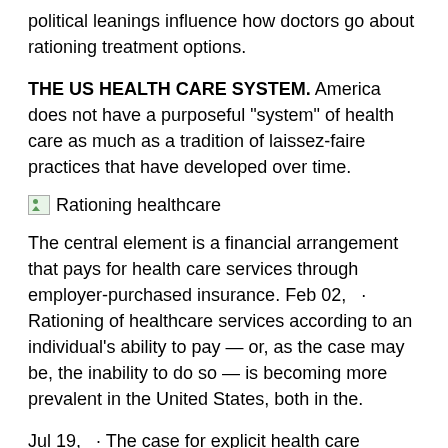political leanings influence how doctors go about rationing treatment options.
THE US HEALTH CARE SYSTEM. America does not have a purposeful "system" of health care as much as a tradition of laissez-faire practices that have developed over time.
[Figure (photo): Image placeholder with label 'Rationing healthcare']
The central element is a financial arrangement that pays for health care services through employer-purchased insurance. Feb 02,  · Rationing of healthcare services according to an individual's ability to pay — or, as the case may be, the inability to do so — is becoming more prevalent in the United States, both in the.
Jul 19,  · The case for explicit health care rationing in the United States starts with the difficulty of thinking of any other way in which we can continue to provide adequate health care to people on...